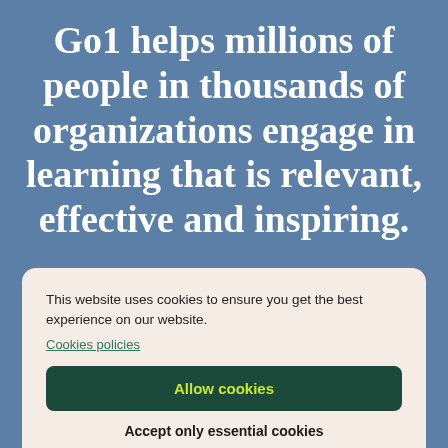Go1 helps millions of people in thousands of organizations engage in learning that is relevant, effective and inspiring.
This website uses cookies to ensure you get the best experience on our website.
Cookies policies
Allow cookies
Accept only essential cookies
Cookie Preferences